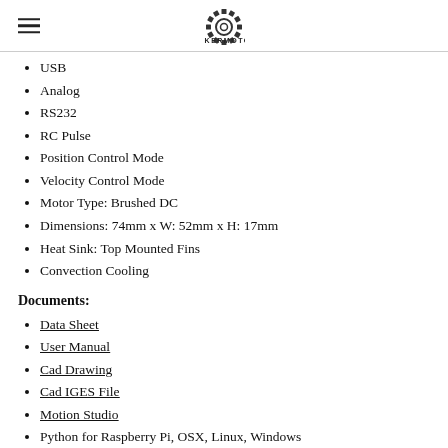MAKERMOTOR
USB
Analog
RS232
RC Pulse
Position Control Mode
Velocity Control Mode
Motor Type:  Brushed DC
Dimensions: 74mm x W: 52mm x H: 17mm
Heat Sink:  Top Mounted Fins
Convection Cooling
Documents:
Data Sheet
User Manual
Cad Drawing
Cad IGES File
Motion Studio
Python for Raspberry Pi, OSX, Linux, Windows